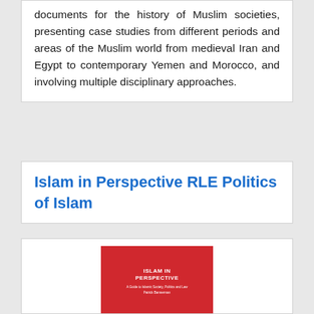documents for the history of Muslim societies, presenting case studies from different periods and areas of the Muslim world from medieval Iran and Egypt to contemporary Yemen and Morocco, and involving multiple disciplinary approaches.
Islam in Perspective RLE Politics of Islam
[Figure (illustration): Book cover of 'Islam in Perspective' with red background, white bold title text 'ISLAM IN PERSPECTIVE', subtitle 'A Guide to Islamic Society, Politics and Law', and author name 'Patrick Bannerman']